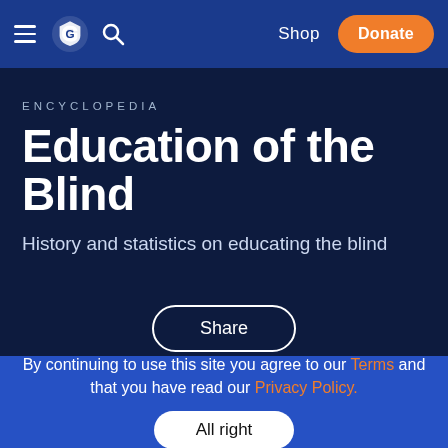Shop  Donate
ENCYCLOPEDIA
Education of the Blind
History and statistics on educating the blind
Share
By continuing to use this site you agree to our Terms and that you have read our Privacy Policy.
All right